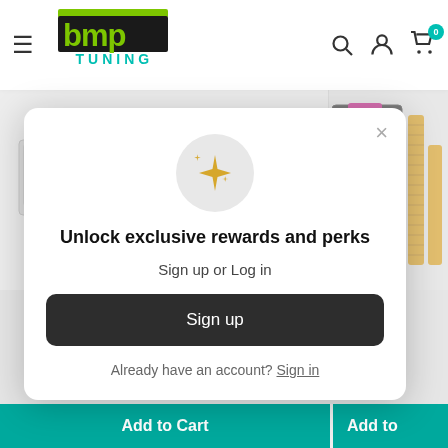[Figure (logo): BMP Tuning logo with green and dark text]
[Figure (photo): Automotive suspension/coilover parts on white background, left product panel]
[Figure (photo): Automotive coilover kit in black box with yellow springs, right product panel]
Unlock exclusive rewards and perks
Sign up or Log in
Sign up
Already have an account? Sign in
Add to Cart
Add to